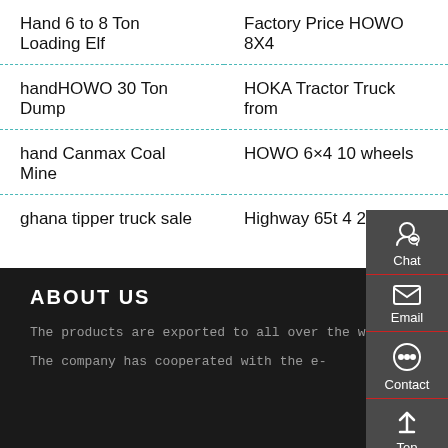Hand 6 to 8 Ton Loading Elf
Factory Price HOWO 8X4
handHOWO 30 Ton Dump
HOKA Tractor Truck from
hand Canmax Coal Mine
HOWO 6×4 10 wheels
ghana tipper truck sale
Highway 65t 4 2 6 4 8 4
ABOUT US
The products are exported to all over the world.
The company has cooperated with the e-